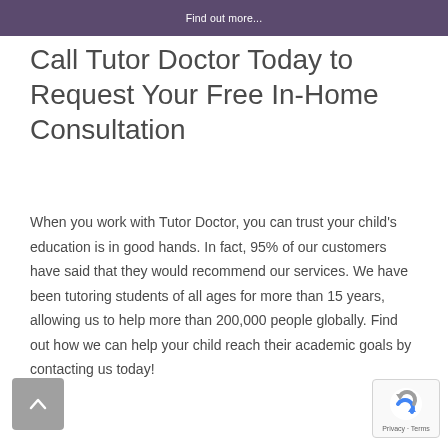Find out more...
Call Tutor Doctor Today to Request Your Free In-Home Consultation
When you work with Tutor Doctor, you can trust your child's education is in good hands. In fact, 95% of our customers have said that they would recommend our services. We have been tutoring students of all ages for more than 15 years, allowing us to help more than 200,000 people globally. Find out how we can help your child reach their academic goals by contacting us today!
[Figure (other): Back to top arrow button (grey square with upward chevron)]
[Figure (other): Google reCAPTCHA badge with circular arrow logo and 'Privacy - Terms' label]